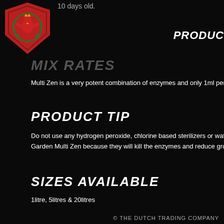[Figure (logo): Red shield-shaped badge logo with green wreath design, Dutch Trading Company branding]
10 days old.
PRODUC
MIX RATES
Multi Zen is a very potent combination of enzymes and only 1ml per
PRODUCT TIP
Do not use any hydrogen peroxide, chlorine based sterilizers or wate
Garden Multi Zen because they will kill the enzymes and reduce gro
SIZES AVAILABLE
1litre, 5litres & 20litres
© THE DUTCH TRADING COMPANY